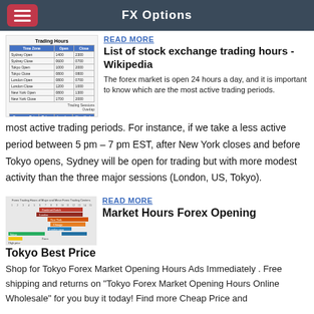FX Options
[Figure (table-as-image): Trading Hours table showing Sydney Open/Close, Tokyo Open/Close, London Open/Close, New York Open/Close times and currency pair price movements]
READ MORE
List of stock exchange trading hours - Wikipedia
The forex market is open 24 hours a day, and it is important to know which are the most active trading periods. For instance, if we take a less active period between 5 pm – 7 pm EST, after New York closes and before Tokyo opens, Sydney will be open for trading but with more modest activity than the three major sessions (London, US, Tokyo).
[Figure (infographic): Forex Trading Hours of Major and Minor Forex Trading Centers - horizontal bar chart showing overlapping trading sessions for different cities/regions with colored bars]
READ MORE
Market Hours Forex Opening Tokyo Best Price
Shop for Tokyo Forex Market Opening Hours Ads Immediately . Free shipping and returns on "Tokyo Forex Market Opening Hours Online Wholesale" for you buy it today! Find more Cheap Price and